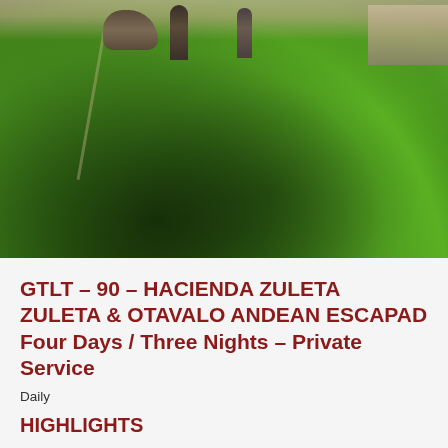[Figure (photo): Outdoor scene at Hacienda Zuleta: green lawn with people and a horse walking on a path, stone wall and gardens in background, bright sunny day]
GTLT – 90 – HACIENDA ZULETA ZULETA & OTAVALO ANDEAN ESCAPADE Four Days / Three Nights – Private Service
Daily
HIGHLIGHTS